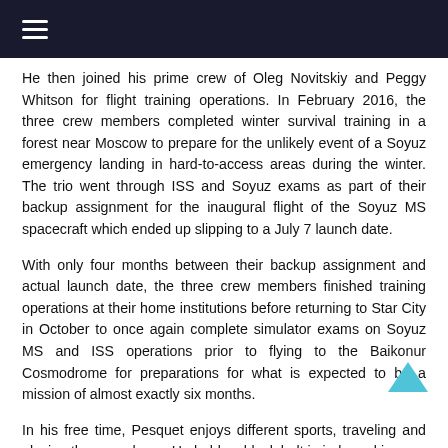≡
He then joined his prime crew of Oleg Novitskiy and Peggy Whitson for flight training operations. In February 2016, the three crew members completed winter survival training in a forest near Moscow to prepare for the unlikely event of a Soyuz emergency landing in hard-to-access areas during the winter. The trio went through ISS and Soyuz exams as part of their backup assignment for the inaugural flight of the Soyuz MS spacecraft which ended up slipping to a July 7 launch date.
With only four months between their backup assignment and actual launch date, the three crew members finished training operations at their home institutions before returning to Star City in October to once again complete simulator exams on Soyuz MS and ISS operations prior to flying to the Baikonur Cosmodrome for preparations for what is expected to be a mission of almost exactly six months.
In his free time, Pesquet enjoys different sports, traveling and playing the saxophone. He holds a black belt in judo and is